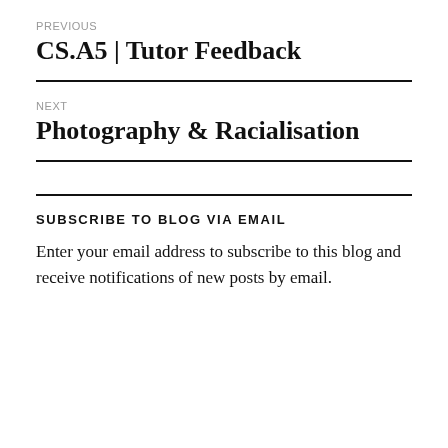PREVIOUS
CS.A5 | Tutor Feedback
NEXT
Photography & Racialisation
SUBSCRIBE TO BLOG VIA EMAIL
Enter your email address to subscribe to this blog and receive notifications of new posts by email.